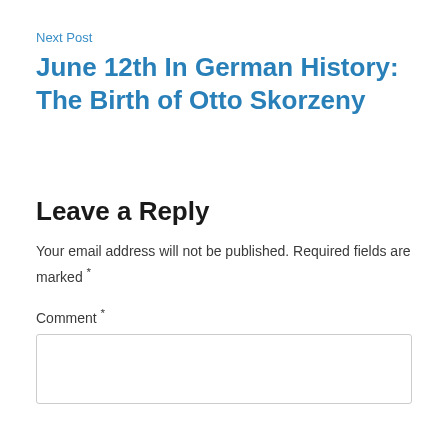Next Post
June 12th In German History: The Birth of Otto Skorzeny
Leave a Reply
Your email address will not be published. Required fields are marked *
Comment *